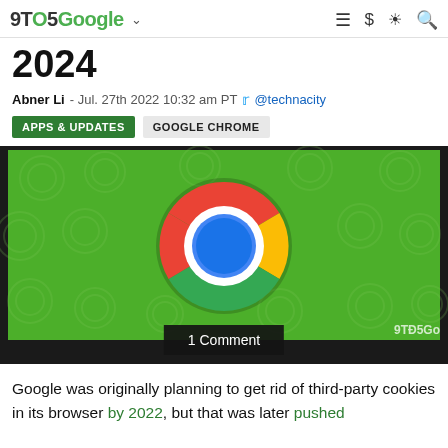9TO5Google
2024
Abner Li  -  Jul. 27th 2022 10:32 am PT  @technacity
APPS & UPDATES
GOOGLE CHROME
[Figure (photo): Google Chrome logo on a green background displayed on a laptop screen. The Chrome icon (red, yellow, green with blue center) is prominently centered. 9TO5Google watermark in bottom right. Comment count overlay shows '1 Comment'.]
Google was originally planning to get rid of third-party cookies in its browser by 2022, but that was later pushed